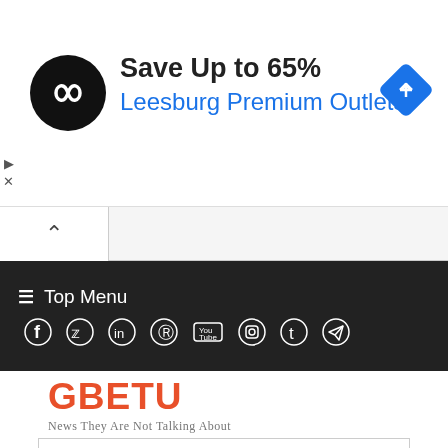[Figure (screenshot): Advertisement banner: black circular logo with infinity-like symbol, text 'Save Up to 65%' in black bold, 'Leesburg Premium Outlets' in blue, blue diamond direction icon on right]
[Figure (screenshot): Browser tab bar showing caret/up arrow tab active]
[Figure (screenshot): Dark navigation bar with hamburger menu 'Top Menu' and social media icons: Facebook, Twitter, LinkedIn, Pinterest, YouTube, Instagram, Tumblr, Telegram]
GBETU
News They Are Not Talking About
[Figure (logo): Jobs on Monster logo — 'Jobs on' in gray, 'MONSTER' in large bold purple/teal letters]